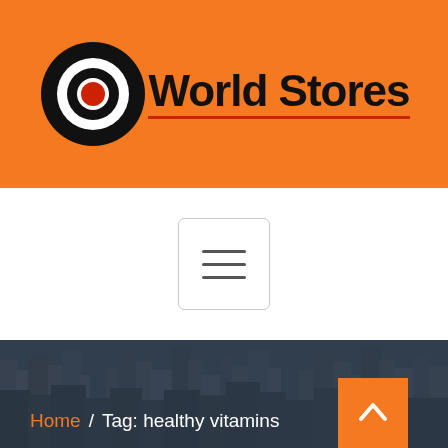[Figure (logo): World Stores logo: black bullseye/target circle with red center dot on orange background, with bold text 'World Stores' and a red underline]
[Figure (other): Hamburger menu button (three horizontal lines) inside a rounded rectangle border on white background]
[Figure (photo): Aerial cityscape photo of a large city with skyscrapers near a waterfront, with dark overlay. Breadcrumb navigation shows 'Home / Tag: healthy vitamins'. Orange back-to-top arrow button in bottom right.]